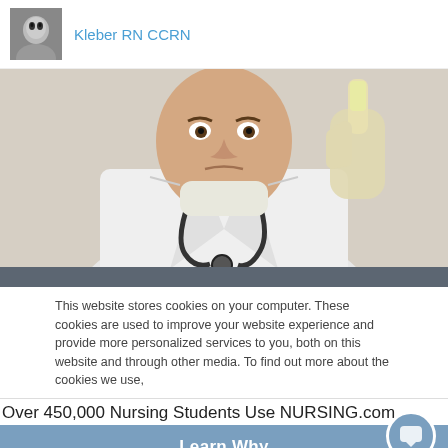Kleber RN CCRN
[Figure (photo): A male healthcare professional in a white lab coat and stethoscope, wearing a surgical mask pulled down, holding up a specimen vial with a gloved hand and examining it]
This website stores cookies on your computer. These cookies are used to improve your website experience and provide more personalized services to you, both on this website and through other media. To find out more about the cookies we use,
Over 450,000 Nursing Students Use NURSING.com
Learn Why